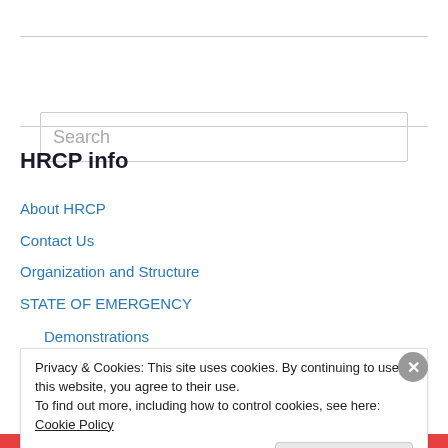[Figure (other): Search box input field with placeholder text 'Search']
HRCP info
About HRCP
Contact Us
Organization and Structure
STATE OF EMERGENCY
Demonstrations
Privacy & Cookies: This site uses cookies. By continuing to use this website, you agree to their use.
To find out more, including how to control cookies, see here: Cookie Policy
Close and accept